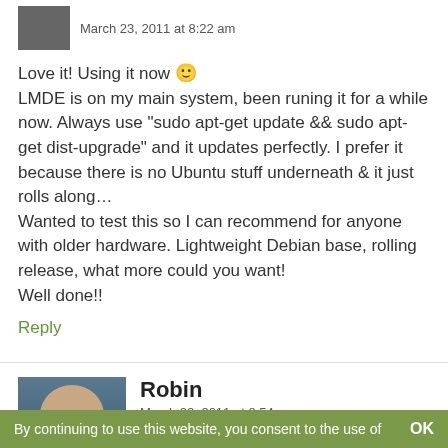March 23, 2011 at 8:22 am
Love it! Using it now 🙂
LMDE is on my main system, been runing it for a while now. Always use "sudo apt-get update && sudo apt-get dist-upgrade" and it updates perfectly. I prefer it because there is no Ubuntu stuff underneath & it just rolls along…
Wanted to test this so I can recommend for anyone with older hardware. Lightweight Debian base, rolling release, what more could you want!
Well done!!
Reply
Robin
March 22, 2011 at 8:54 am
By continuing to use this website, you consent to the use of    OK